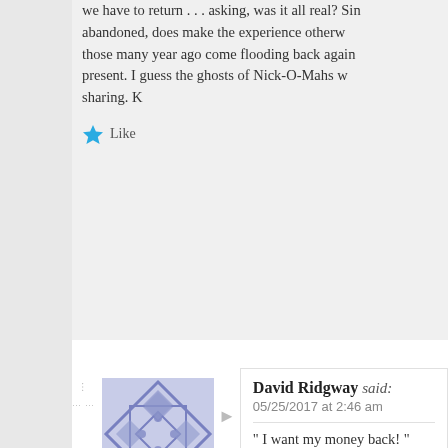we have to return . . . asking, was it all real? Sin... abandoned, does make the experience otherw... those many year ago come flooding back again... present. I guess the ghosts of Nick-O-Mahs w... sharing. K
Like
David Ridgway said: 05/25/2017 at 2:46 am
" I want my money back! "
Liked by 1 person
David Hall said: 05/25/2017 at 10:56 am
Hi David! Actually, the ghost wa... or counselors who would wear th... mask and float down the road...